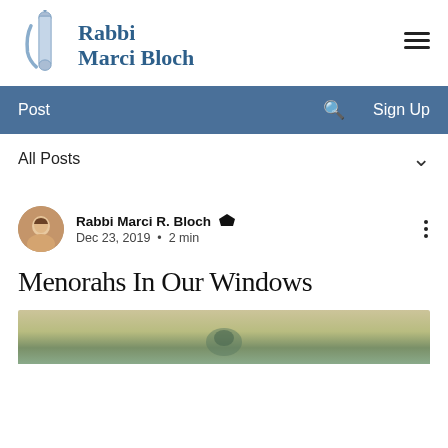Rabbi Marci Bloch
Post   Sign Up
All Posts
Rabbi Marci R. Bloch Admin
Dec 23, 2019  •  2 min
Menorahs In Our Windows
[Figure (photo): Partially visible blurred image at the bottom of the page, appears to show a menorah or candles]